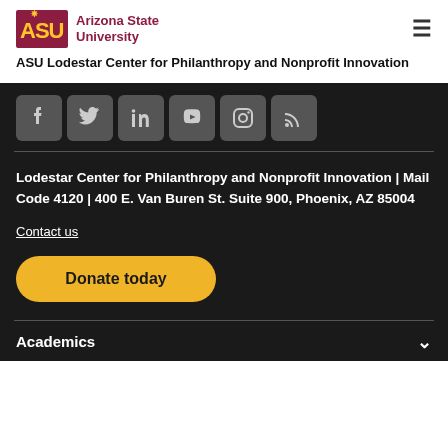ASU Arizona State University
ASU Lodestar Center for Philanthropy and Nonprofit Innovation
[Figure (illustration): Social media icons row: Facebook, Twitter, LinkedIn, YouTube, Instagram, RSS feed icons on dark background]
Lodestar Center for Philanthropy and Nonprofit Innovation | Mail Code 4120 | 400 E. Van Buren St. Suite 900, Phoenix, AZ 85004
Contact us
Donate today
Academics